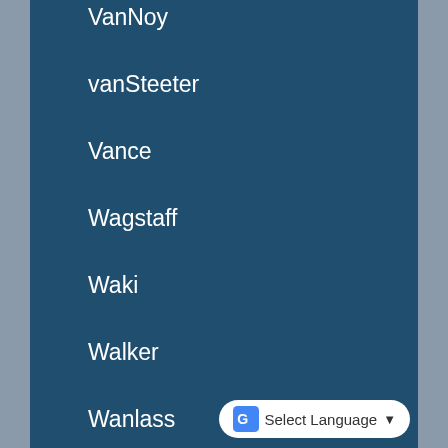VanNoy
vanSteeter
Vance
Wagstaff
Waki
Walker
Wanlass
Warenski
Warren